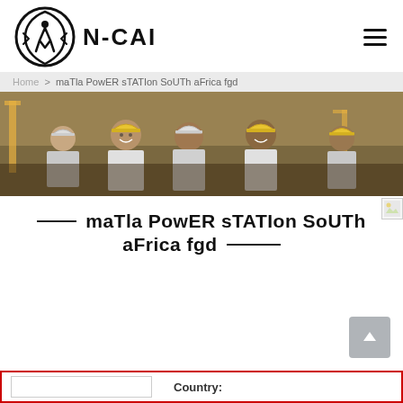N-CAI logo and navigation header
Home > maTla PowER sTATIon SoUTh aFrica fgd
[Figure (photo): Group of construction workers wearing hard hats smiling, industrial background]
maTla PowER sTATIon SoUTh aFrica fgd
Country: